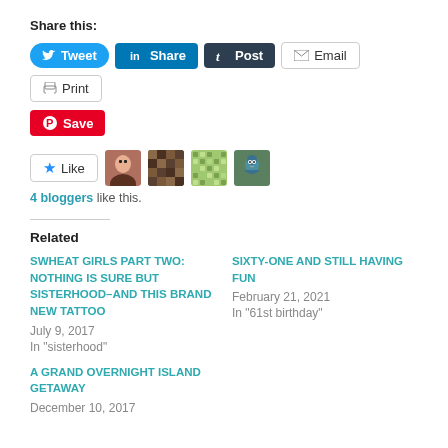Share this:
[Figure (screenshot): Social sharing buttons: Tweet (Twitter), Share (LinkedIn), Post (Tumblr), Email, Print, Save (Pinterest)]
[Figure (infographic): Like button with star icon and 4 blogger avatar thumbnails]
4 bloggers like this.
Related
SWHEAT GIRLS PART TWO: NOTHING IS SURE BUT SISTERHOOD–AND THIS BRAND NEW TATTOO
July 9, 2017
In "sisterhood"
SIXTY-ONE AND STILL HAVING FUN
February 21, 2021
In "61st birthday"
A GRAND OVERNIGHT ISLAND GETAWAY
December 10, 2017